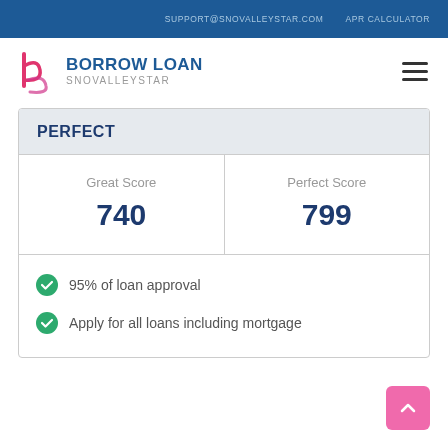SUPPORT@SNOVALLEYSTAR.COM   APR CALCULATOR
[Figure (logo): Borrow Loan Snovalleystar logo with stylized 'b' letter in pink/magenta]
BORROW LOAN SNOVALLEYSTAR
PERFECT
| Great Score | Perfect Score |
| --- | --- |
| 740 | 799 |
95% of loan approval
Apply for all loans including mortgage